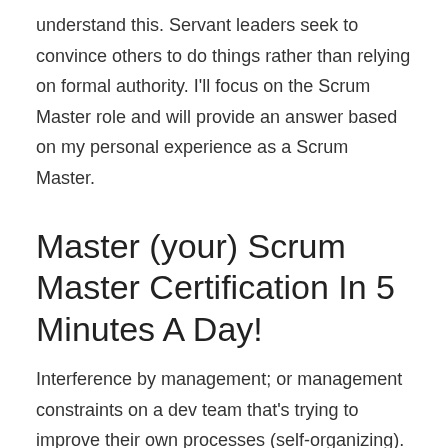understand this. Servant leaders seek to convince others to do things rather than relying on formal authority. I'll focus on the Scrum Master role and will provide an answer based on my personal experience as a Scrum Master.
Master (your) Scrum Master Certification In 5 Minutes A Day!
Interference by management; or management constraints on a dev team that's trying to improve their own processes (self-organizing). Indeed online articles often miss an essential point regarding the Scrum roles.